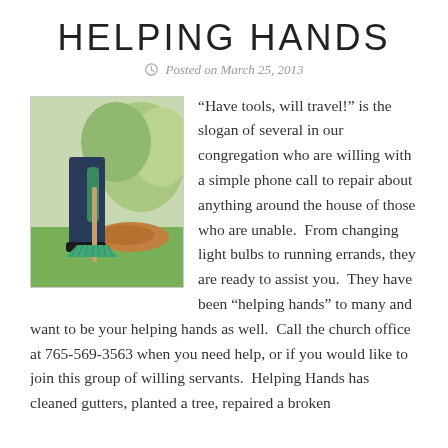HELPING HANDS
Posted on March 25, 2013
[Figure (photo): Person raking leaves on a lawn with a green rake, wearing dark pants and green gloves]
"Have tools, will travel!" is the slogan of several in our congregation who are willing with a simple phone call to repair about anything around the house of those who are unable.  From changing light bulbs to running errands, they are ready to assist you.  They have been "helping hands" to many and want to be your helping hands as well.  Call the church office at 765-569-3563 when you need help, or if you would like to join this group of willing servants.  Helping Hands has cleaned gutters, planted a tree, repaired a broken stove, and much else in the last year, always ready to